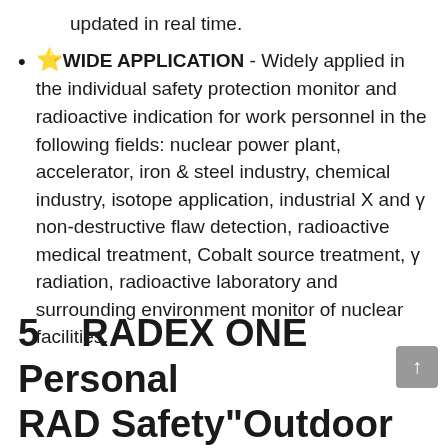updated in real time.
⭐WIDE APPLICATION - Widely applied in the individual safety protection monitor and radioactive indication for work personnel in the following fields: nuclear power plant, accelerator, iron & steel industry, chemical industry, isotope application, industrial X and γ non-destructive flaw detection, radioactive medical treatment, Cobalt source treatment, γ radiation, radioactive laboratory and surrounding environment monitor of nuclear facilities.
5    RADEX ONE Personal RAD Safety"Outdoor